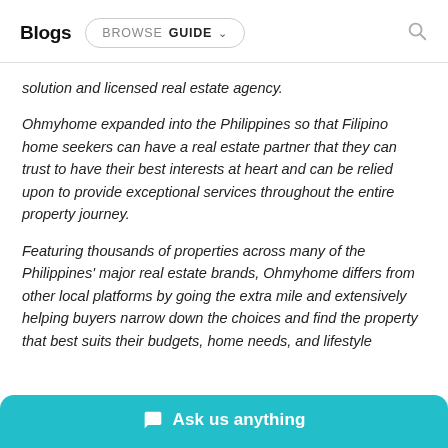Blogs  BROWSE  GUIDE
solution and licensed real estate agency.
Ohmyhome expanded into the Philippines so that Filipino home seekers can have a real estate partner that they can trust to have their best interests at heart and can be relied upon to provide exceptional services throughout the entire property journey.
Featuring thousands of properties across many of the Philippines' major real estate brands, Ohmyhome differs from other local platforms by going the extra mile and extensively helping buyers narrow down the choices and find the property that best suits their budgets, home needs, and lifestyle
Ask us anything